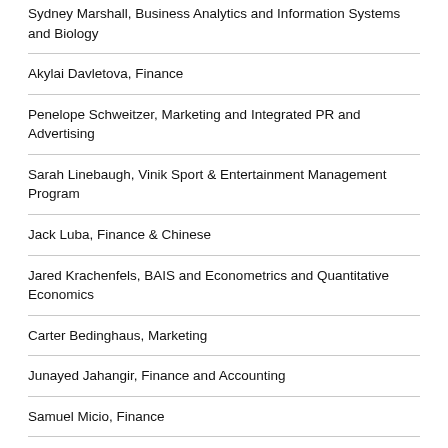Sydney Marshall, Business Analytics and Information Systems and Biology
Akylai Davletova, Finance
Penelope Schweitzer, Marketing and Integrated PR and Advertising
Sarah Linebaugh, Vinik Sport & Entertainment Management Program
Jack Luba, Finance & Chinese
Jared Krachenfels, BAIS and Econometrics and Quantitative Economics
Carter Bedinghaus, Marketing
Junayed Jahangir, Finance and Accounting
Samuel Micio, Finance